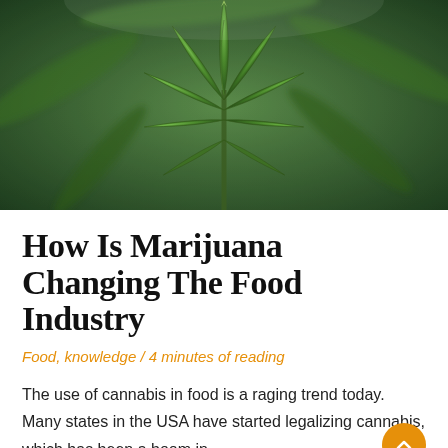[Figure (photo): Close-up photo of a cannabis/marijuana plant with green fan leaves, shot from below looking up, blurred green background]
How Is Marijuana Changing The Food Industry
Food, knowledge / 4 minutes of reading
The use of cannabis in food is a raging trend today. Many states in the USA have started legalizing cannabis, which has been a boom in ...